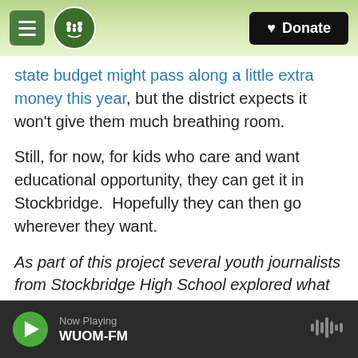Michigan Radio — Donate
state budget might pass along a little extra money this year, but the district expects it won't give them much breathing room.
Still, for now, for kids who care and want educational opportunity, they can get it in Stockbridge.  Hopefully they can then go wherever they want.
As part of this project several youth journalists from Stockbridge High School explored what college readiness means and feels like to them. Listen to these stories and more on what it's really like to
Now Playing WUOM-FM